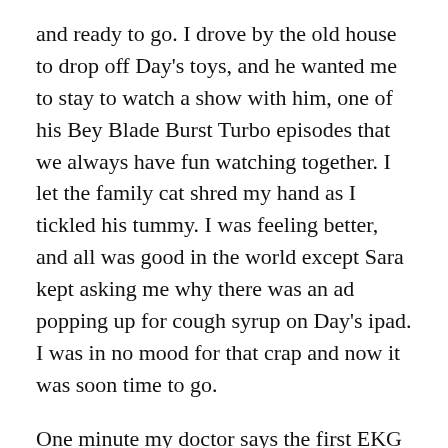and ready to go. I drove by the old house to drop off Day's toys, and he wanted me to stay to watch a show with him, one of his Bey Blade Burst Turbo episodes that we always have fun watching together. I let the family cat shred my hand as I tickled his tummy. I was feeling better, and all was good in the world except Sara kept asking me why there was an ad popping up for cough syrup on Day's ipad. I was in no mood for that crap and now it was soon time to go.
One minute my doctor says the first EKG looks abnormal and sends me to the ER, the next minute I'm told I'm fine, the next I get to see my son, the next my ex wife is accusing me of